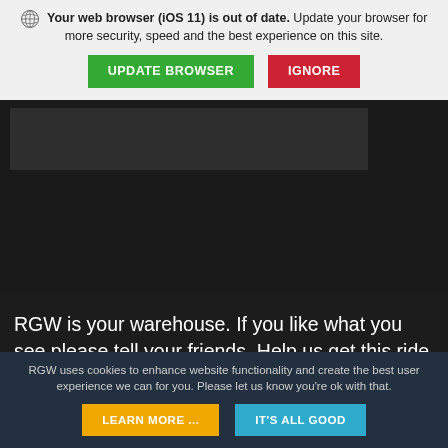Your web browser (iOS 11) is out of date. Update your browser for more security, speed and the best experience on this site.
UPDATE BROWSER
IGNORE
RGW is your warehouse. If you like what you see please tell your friends. Help us get this ride off to a good start. Thx!
[Figure (other): Social media icons: Facebook, Instagram, Twitter, Pinterest — circular outlined icons on dark background]
RGW uses cookies to enhance website functionality and create the best user experience we can for you. Please let us know you're ok with that.
LEARN MORE ...
IT'S ALL GOOD